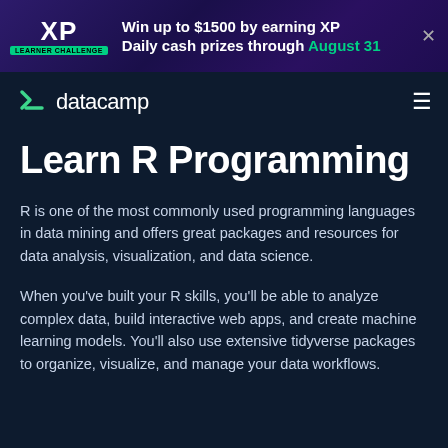[Figure (screenshot): DataCamp learner challenge banner: XP logo, 'Win up to $1500 by earning XP', 'Daily cash prizes through August 31' with green text, close button]
[Figure (logo): DataCamp logo with green DC icon and white 'datacamp' text, hamburger menu icon on the right]
Learn R Programming
R is one of the most commonly used programming languages in data mining and offers great packages and resources for data analysis, visualization, and data science.
When you've built your R skills, you'll be able to analyze complex data, build interactive web apps, and create machine learning models. You'll also use extensive tidyverse packages to organize, visualize, and manage your data workflows.